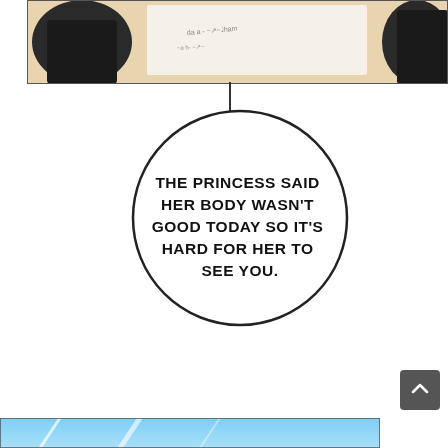[Figure (illustration): Top manga panel showing two figures, one in dark clothing, near a bed or surface with some text/writing visible on white background. Brownish warm tones.]
[Figure (illustration): Large circular speech bubble with a line connecting upward to the panel above. Contains manga-style dialogue text: 'THE PRINCESS SAID HER BODY WASN'T GOOD TODAY SO IT'S HARD FOR HER TO SEE YOU.']
[Figure (illustration): Bottom partial panel showing a blue/teal gradient background, partially visible at the bottom of the page.]